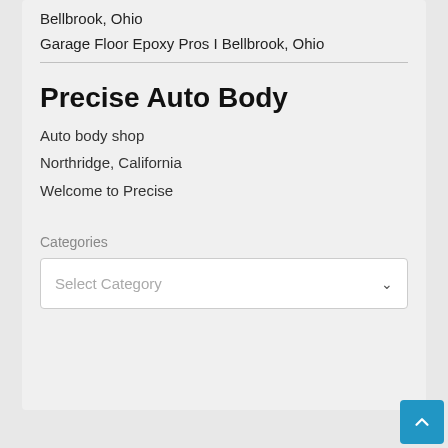Bellbrook, Ohio
Garage Floor Epoxy Pros I Bellbrook, Ohio
Precise Auto Body
Auto body shop
Northridge, California
Welcome to Precise
Categories
Select Category